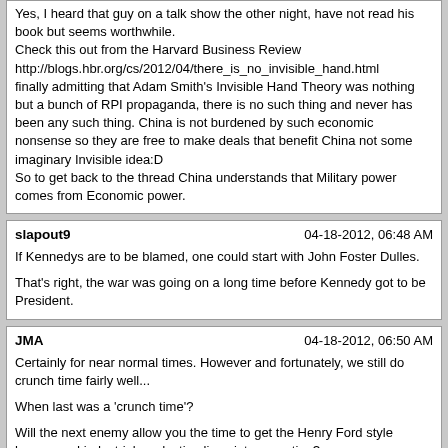Yes, I heard that guy on a talk show the other night, have not read his book but seems worthwhile.
Check this out from the Harvard Business Review
http://blogs.hbr.org/cs/2012/04/there_is_no_invisible_hand.html
finally admitting that Adam Smith's Invisible Hand Theory was nothing but a bunch of RPI propaganda, there is no such thing and never has been any such thing. China is not burdened by such economic nonsense so they are free to make deals that benefit China not some imaginary Invisible idea:D
So to get back to the thread China understands that Military power comes from Economic power.
slapout9 — 04-18-2012, 06:48 AM
If Kennedys are to be blamed, one could start with John Foster Dulles.
That's right, the war was going on a long time before Kennedy got to be President.
JMA — 04-18-2012, 06:50 AM
Certainly for near normal times. However and fortunately, we still do crunch time fairly well...
When last was a 'crunch time'?
Will the next enemy allow you the time to get the Henry Ford style human and industrial production lines into operation?
This was the game plan I was speaking of. As observed by von Schell in 1930 during his time at Fort Benning. Sorry if I was not too clear on that.
JMA — 04-18-2012, 06:55 AM
One wonders if Diego Gracia would be worth having, if one could get, say, Mauritius or Seychelles! Diego Gracia in comparison would very inadequate.